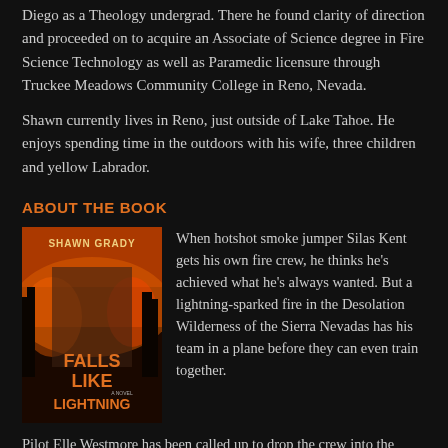Diego as a Theology undergrad. There he found clarity of direction and proceeded on to acquire an Associate of Science degree in Fire Science Technology as well as Paramedic licensure through Truckee Meadows Community College in Reno, Nevada.
Shawn currently lives in Reno, just outside of Lake Tahoe. He enjoys spending time in the outdoors with his wife, three children and yellow Labrador.
ABOUT THE BOOK
[Figure (illustration): Book cover for 'Falls Like Lightning' by Shawn Grady showing a man against a fiery forest background with large orange text.]
When hotshot smoke jumper Silas Kent gets his own fire crew, he thinks he's achieved what he's always wanted. But a lightning-sparked fire in the Desolation Wilderness of the Sierra Nevadas has his team in a plane before they can even train together.
Pilot Elle Westmore has been called up to drop the crew into the heart of the forest infernos. A single mother of a mysteriously ill six-year-old, she can't imagine her life